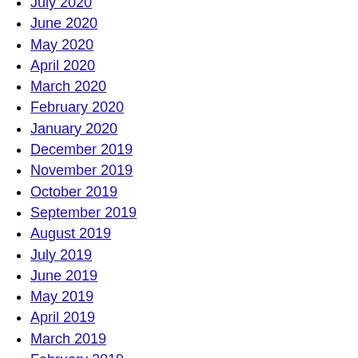July 2020
June 2020
May 2020
April 2020
March 2020
February 2020
January 2020
December 2019
November 2019
October 2019
September 2019
August 2019
July 2019
June 2019
May 2019
April 2019
March 2019
February 2019
January 2019
December 2018
November 2018
October 2018
September 2018
August 2018
July 2018
March 2018